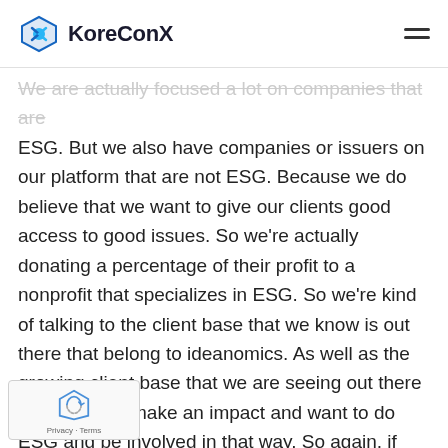KoreConX
We are actually focused a lot on companies that are ESG. But we also have companies or issuers on our platform that are not ESG. Because we do believe that we want to give our clients good access to good issues. So we're actually donating a percentage of their profit to a nonprofit that specializes in ESG. So we're kind of talking to the client base that we know is out there that belong to ideanomics. As well as the growing client base that we are seeing out there that wants to make an impact and want to do ESG and be involved in that way. So again, if someone's an issuer and ESG, then we will be an ideal fit. There may be another broker out there y would speak to, that has a better offering that ir issuance and someone could be specializing